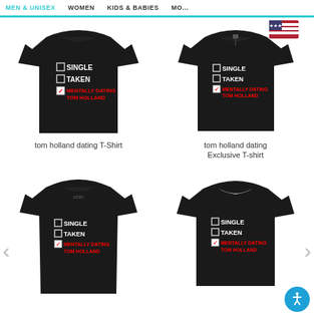Men & Unisex | Women | Kids & Babies | More
[Figure (photo): Black t-shirt front view with text: checkbox SINGLE, checkbox TAKEN, checked checkbox MENTALLY DATING TOM HOLLAND]
tom holland dating T-Shirt
[Figure (photo): Black t-shirt back view with US flag badge and text: checkbox SINGLE, checkbox TAKEN, checked checkbox MENTALLY DATING TOM HOLLAND]
tom holland dating Exclusive T-shirt
[Figure (photo): Black t-shirt front view (women's style) with text: checkbox SINGLE, checkbox TAKEN, checked checkbox MENTALLY DATING TOM HOLLAND]
[Figure (photo): Black t-shirt front view with text: checkbox SINGLE, checkbox TAKEN, checked checkbox MENTALLY DATING TOM HOLLAND, with accessibility button]